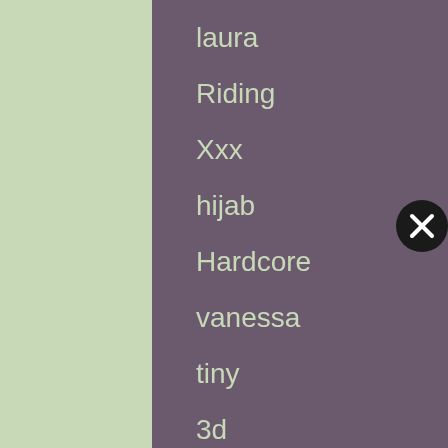laura
Riding
Xxx
hijab
Hardcore
vanessa
tiny
3d
paki
hentai
phone
[Figure (illustration): Black circular close/cancel button with white X icon]